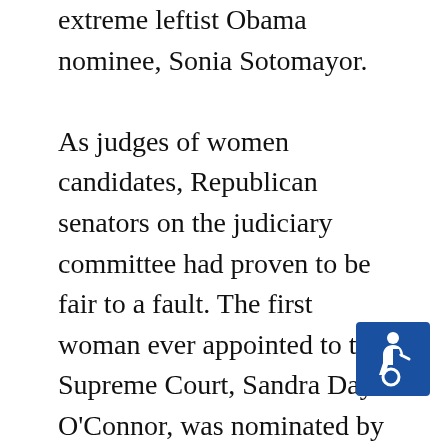extreme leftist Obama nominee, Sonia Sotomayor.

As judges of women candidates, Republican senators on the judiciary committee had proven to be fair to a fault. The first woman ever appointed to the Supreme Court, Sandra Day O'Connor, was nominated by Republican and white male Ronald Reagan. In 1993 Bill Clinton nominated Ruth Bader Ginsburg to become the second. At the time, Ginsburg was general counsel for the leftwing American Civil Liberties Union. She was a militant feminist who had created the ACLU's Women's Rights Project. Hers was obviously not a resume designed to endear her to Republican senators. But upon her nomination, Republican Senator Orrin